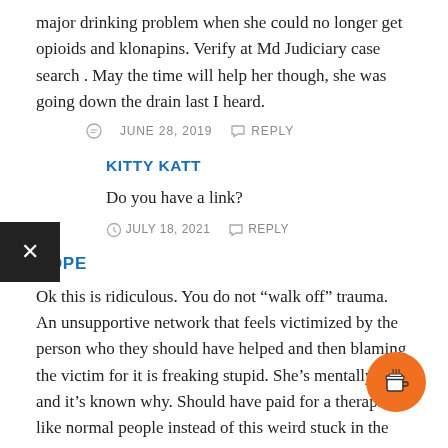major drinking problem when she could no longer get opioids and klonapins. Verify at Md Judiciary case search . May the time will help her though, she was going down the drain last I heard.
JUNE 28, 2019   REPLY
KITTY KATT
Do you have a link?
JULY 18, 2021   REPLY
NOPE
Ok this is ridiculous. You do not “walk off” trauma. An unsupportive network that feels victimized by the person who they should have helped and then blaming the victim for it is freaking stupid. She’s mentally ill and it’s known why. Should have paid for a therapist like normal people instead of this weird stuck in the dark